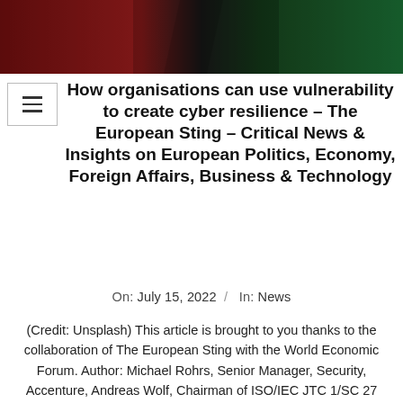[Figure (photo): Dark photograph showing a cybersecurity-themed scene with red and green lighting.]
How organisations can use vulnerability to create cyber resilience – The European Sting – Critical News & Insights on European Politics, Economy, Foreign Affairs, Business & Technology
On:  July 15, 2022  /   In:  News
(Credit: Unsplash) This article is brought to you thanks to the collaboration of The European Sting with the World Economic Forum. Author: Michael Rohrs, Senior Manager, Security, Accenture, Andreas Wolf, Chairman of ISO/IEC JTC 1/SC 27 Information security, cybersecurity